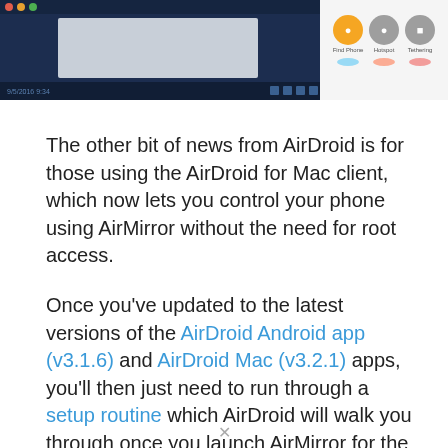[Figure (screenshot): Screenshot showing AirDroid for Mac interface on left with dark blue background and a light gray dialog box, and on the right a phone screen with app icons including Find Phone, Hotspot, and Tethering with colored circle indicators below them.]
The other bit of news from AirDroid is for those using the AirDroid for Mac client, which now lets you control your phone using AirMirror without the need for root access.
Once you’ve updated to the latest versions of the AirDroid Android app (v3.1.6) and AirDroid Mac (v3.2.1) apps, you’ll then just need to run through a setup routine which AirDroid will walk you through once you launch AirMirror for the first time.